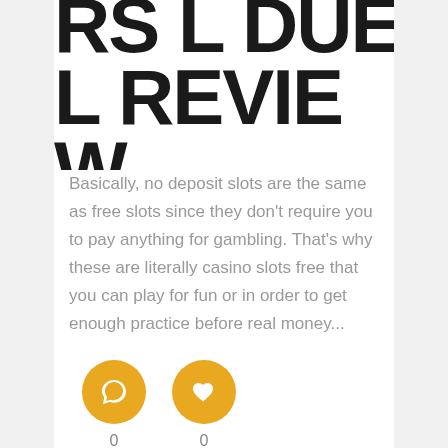RS L DUE
L REVIE
W
Basically, no deposit slots are the same as free slots since they don't require you to pay anything for gambling. That's why these are literally casino slots free that you can play for fun or in order to get enough practice before real money...
[Figure (illustration): Two circular golden/amber icon buttons: a comment/chat bubble icon and a heart/like icon, each with a count of 0 below them]